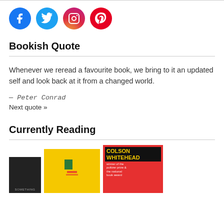[Figure (logo): Social media icons: Facebook, Twitter, Instagram, Pinterest]
Bookish Quote
Whenever we reread a favourite book, we bring to it an updated self and look back at it from a changed world.
— Peter Conrad
Next quote »
Currently Reading
[Figure (photo): Three book covers partially visible at the bottom of the page]